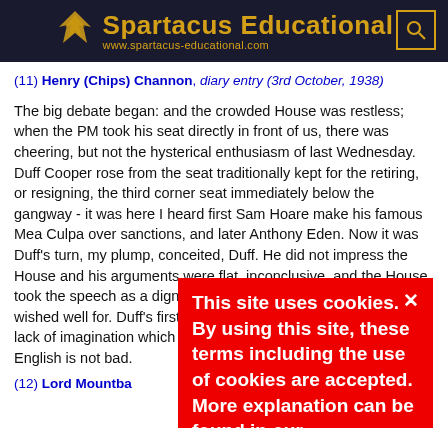Spartacus Educational — www.spartacus-educational.com
(11) Henry (Chips) Channon, diary entry (3rd October, 1938)
The big debate began: and the crowded House was restless; when the PM took his seat directly in front of us, there was cheering, but not the hysterical enthusiasm of last Wednesday. Duff Cooper rose from the seat traditionally kept for the retiring, or resigning, the third corner seat immediately below the gangway - it was here I heard first Sam Hoare make his famous Mea Culpa over sanctions, and later Anthony Eden. Now it was Duff's turn, my plump, conceited, Duff. He did not impress the House and his arguments were flat, inconclusive, and the House took the speech as a dignified farewell from a man whom they wished well for. Duff's first quality is as a Parliamentarian. His lack of imagination which makes him a poor writer, although his English is not bad.
This site uses cookies. By using this site, these terms including the use of cookies are accepted. More explanation can be found in our
(12) Lord Mountba